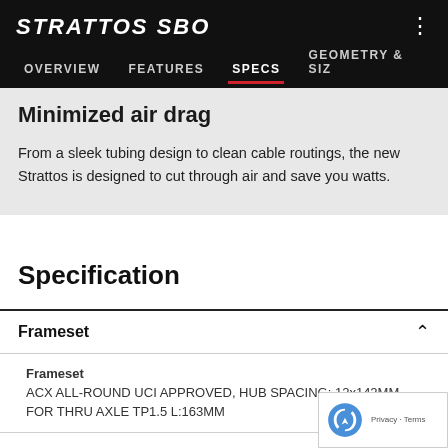STRATTOS SBO | OVERVIEW   FEATURES   SPECS   GEOMETRY & SIZ
Minimized air drag
From a sleek tubing design to clean cable routings, the new Strattos is designed to cut through air and save you watts.
Specification
Frameset
| Component | Description |
| --- | --- |
| Frameset | ACX ALL-ROUND UCI APPROVED, HUB SPACING: 12x142MM, FOR THRU AXLE TP1.5 L:163MM |
| Fork | ACX ALL-ROUND UCI APPROVED, TAPER 1-1/8" TO 1-1/2 |